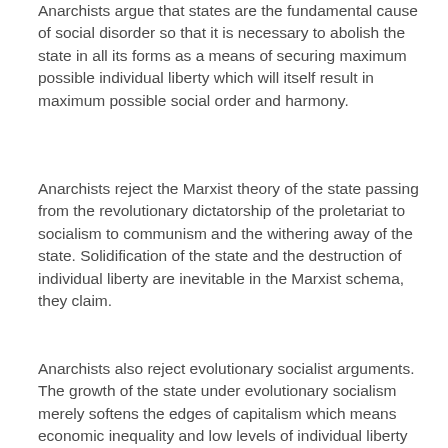Anarchists argue that states are the fundamental cause of social disorder so that it is necessary to abolish the state in all its forms as a means of securing maximum possible individual liberty which will itself result in maximum possible social order and harmony.
Anarchists reject the Marxist theory of the state passing from the revolutionary dictatorship of the proletariat to socialism to communism and the withering away of the state. Solidification of the state and the destruction of individual liberty are inevitable in the Marxist schema, they claim.
Anarchists also reject evolutionary socialist arguments. The growth of the state under evolutionary socialism merely softens the edges of capitalism which means economic inequality and low levels of individual liberty will remain. Centralised state ownership of industry does not increase the liberty of the workers in their place of work; state education systems help to create unthinking respect for authority; state